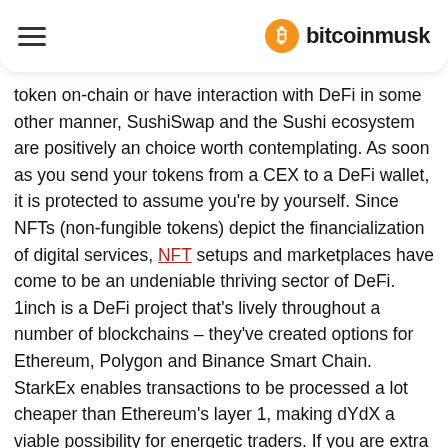bitcoinmusk
token on-chain or have interaction with DeFi in some other manner, SushiSwap and the Sushi ecosystem are positively an choice worth contemplating. As soon as you send your tokens from a CEX to a DeFi wallet, it is protected to assume you're by yourself. Since NFTs (non-fungible tokens) depict the financialization of digital services, NFT setups and marketplaces have come to be an undeniable thriving sector of DeFi. 1inch is a DeFi project that's lively throughout a number of blockchains – they've created options for Ethereum, Polygon and Binance Smart Chain. StarkEx enables transactions to be processed a lot cheaper than Ethereum's layer 1, making dYdX a viable possibility for energetic traders. If you are extra energetic in issues like daily buying and selling or even crypto mining, then it might make sense to sit down with a tax skilled who's educated about crypto.